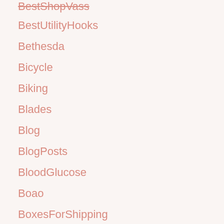BestShopVass
BestUtilityHooks
Bethesda
Bicycle
Biking
Blades
Blog
BlogPosts
BloodGlucose
Boao
BoxesForShipping
BoxesForWatches
Boxing
BracketsDownload
BracketsHtml